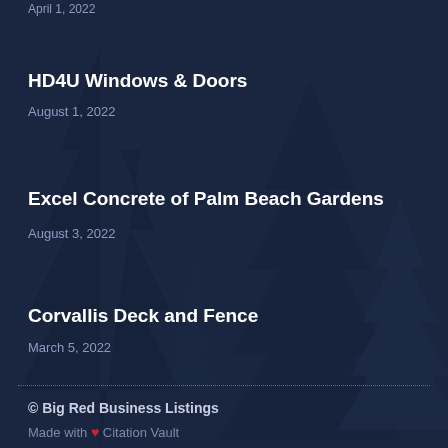April 1, 2022
HD4U Windows & Doors
August 1, 2022
Excel Concrete of Palm Beach Gardens
August 3, 2022
Corvallis Deck and Fence
March 5, 2022
© Big Red Business Listings
Made with ❤ Citation Vault